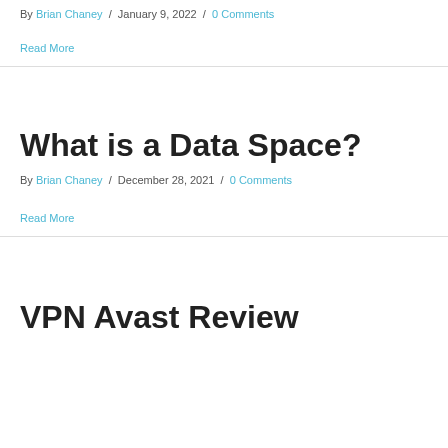By Brian Chaney / January 9, 2022 / 0 Comments
Read More
What is a Data Space?
By Brian Chaney / December 28, 2021 / 0 Comments
Read More
VPN Avast Review